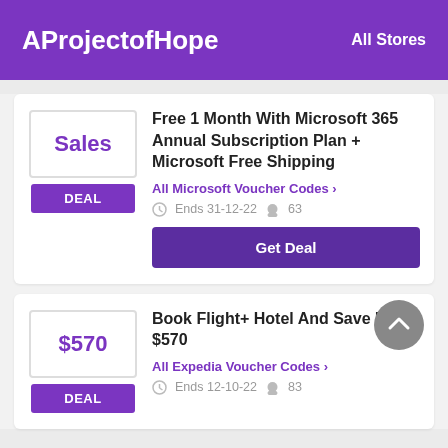AProjectofHope   All Stores
Free 1 Month With Microsoft 365 Annual Subscription Plan + Microsoft Free Shipping
All Microsoft Voucher Codes >
Ends 31-12-22  63
Get Deal
Book Flight+ Hotel And Save Up To $570
All Expedia Voucher Codes >
Ends 12-10-22  83